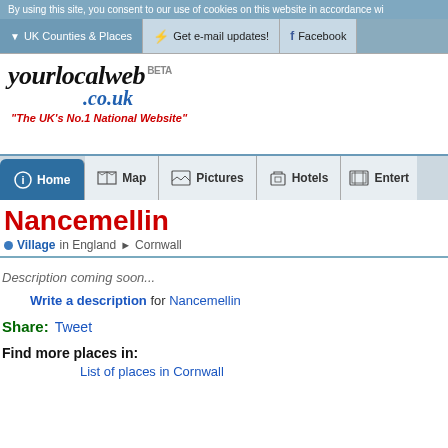By using this site, you consent to our use of cookies on this website in accordance wi
UK Counties & Places  |  Get e-mail updates!  |  Facebook
[Figure (logo): yourlocalweb.co.uk logo with tagline 'The UK's No.1 National Website']
[Figure (screenshot): Navigation tabs: Home, Map, Pictures, Hotels, Entert...]
Nancemellin
Village in England > Cornwall
Description coming soon...
Write a description for Nancemellin
Share: Tweet
Find more places in:
List of places in Cornwall